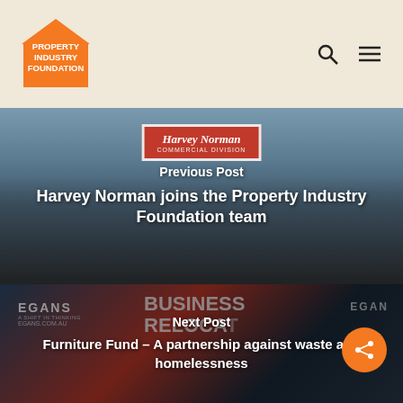Property Industry Foundation
[Figure (photo): Group photo of many people standing outside a Harvey Norman Commercial Division building]
Previous Post
Harvey Norman joins the Property Industry Foundation team
[Figure (photo): Egans Business Relocations trucks and signage, Business Relocations text visible]
Next Post
Furniture Fund – A partnership against waste and homelessness